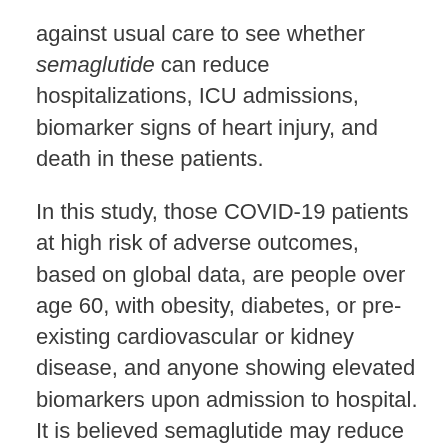against usual care to see whether semaglutide can reduce hospitalizations, ICU admissions, biomarker signs of heart injury, and death in these patients.
In this study, those COVID-19 patients at high risk of adverse outcomes, based on global data, are people over age 60, with obesity, diabetes, or pre-existing cardiovascular or kidney disease, and anyone showing elevated biomarkers upon admission to hospital. It is believed semaglutide may reduce the endothelial activation in blood vessels and thrombosis that appears to underlie COVID-related heart damage, as well as the dangerous surge in immune activity observed in the sickest COVID-19 patients.